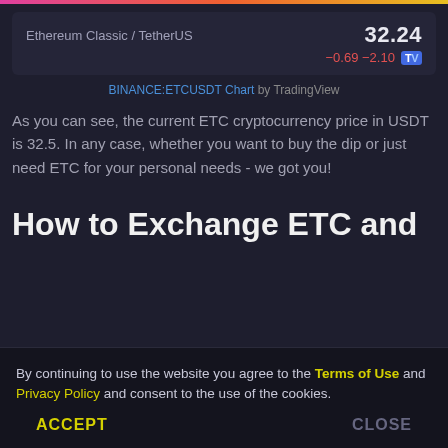[Figure (screenshot): TradingView ticker widget showing Ethereum Classic / TetherUS at price 32.24 with change -0.69 -2.10]
BINANCE:ETCUSDT Chart by TradingView
As you can see, the current ETC cryptocurrency price in USDT is 32.5. In any case, whether you want to buy the dip or just need ETC for your personal needs - we got you!
How to Exchange ETC and
By continuing to use the website you agree to the Terms of Use and Privacy Policy and consent to the use of the cookies.
ACCEPT    CLOSE